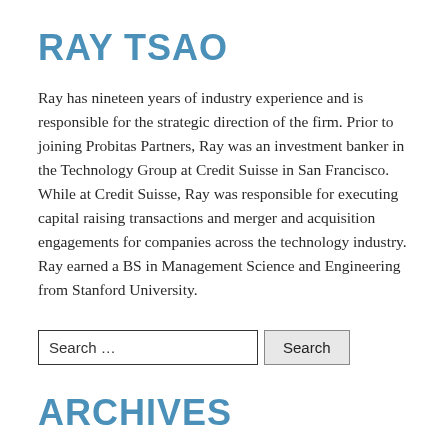RAY TSAO
Ray has nineteen years of industry experience and is responsible for the strategic direction of the firm. Prior to joining Probitas Partners, Ray was an investment banker in the Technology Group at Credit Suisse in San Francisco. While at Credit Suisse, Ray was responsible for executing capital raising transactions and merger and acquisition engagements for companies across the technology industry. Ray earned a BS in Management Science and Engineering from Stanford University.
Search ...
ARCHIVES